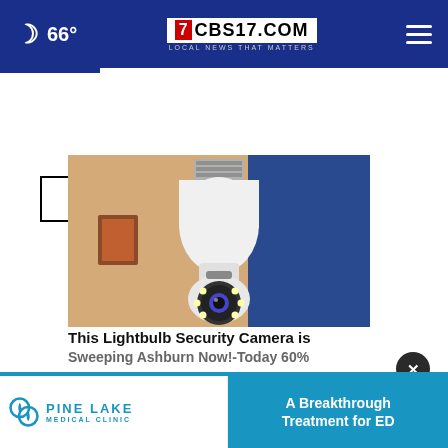🌙 66° | CBS17.COM - LOCAL NEWS THAT MATTERS
More Stories ›
[Figure (photo): A lightbulb-shaped home security camera with LED lights and a camera lens at the bottom, shown indoors with a blurred living room background]
This Lightbulb Security Camera is Sweeping Ashburn Now!- Today 60%
[Figure (logo): Pine Lake Medical Clinic logo with an interlocking circular emblem and the text PINE LAKE MEDICAL CLINIC]
A Breakthrough Treatment for ED